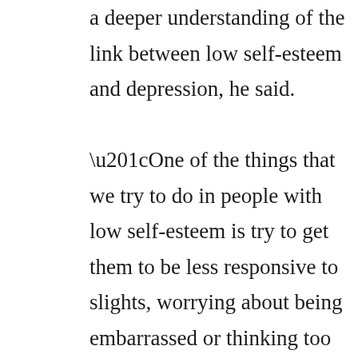a deeper understanding of the link between low self-esteem and depression, he said. “One of the things that we try to do in people with low self-esteem is try to get them to be less responsive to slights, worrying about being embarrassed or thinking too much of how others perceive them,” Heatherton said. “Trying to better understand what happens to people when they feel these things and how that